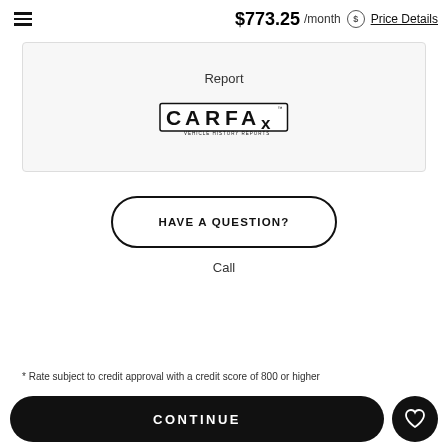$773.25 /month  Price Details
[Figure (logo): CARFAX Vehicle History Reports logo inside a card with label 'Report']
HAVE A QUESTION?
Call
* Rate subject to credit approval with a credit score of 800 or higher
CONTINUE